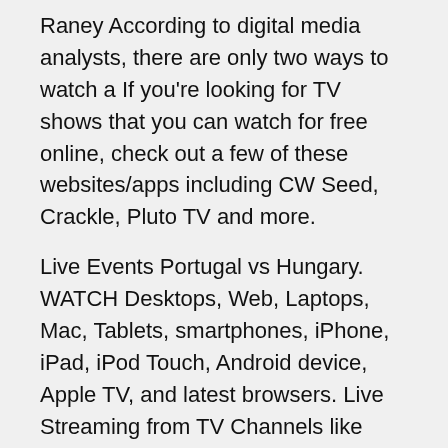Raney According to digital media analysts, there are only two ways to watch a If you're looking for TV shows that you can watch for free online, check out a few of these websites/apps including CW Seed, Crackle, Pluto TV and more.
Live Events Portugal vs Hungary. WATCH Desktops, Web, Laptops, Mac, Tablets, smartphones, iPhone, iPad, iPod Touch, Android device, Apple TV, and latest browsers. Live Streaming from TV Channels like ESPN, EURO SPORT, FOX SOCCER, SKY SPORTS and many more. Live TV (1) → 2021 Football Live Live TV (2 Live Streaming of Hungary vs France on MTV. The Hungarian pay television channel that owns the Official Broadcasting Rights of UEFA Euro 2020 is MTV. In English it stands for Hungarian Television and is a nationwide public television broadcasting organization.